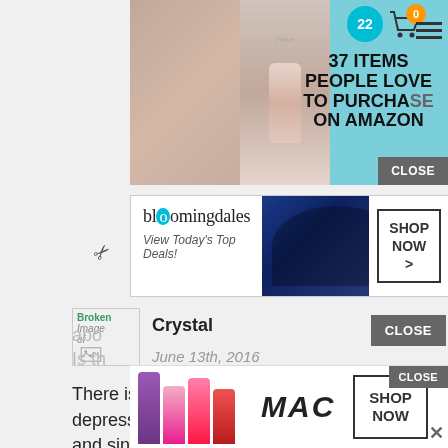[Figure (screenshot): Top advertisement banner showing Amazon items promotion with teal background, product images (necklace, bottle), badge showing '22', cart icon with '0', and text '37 ITEMS PEOPLE LOVE TO PURCHASE ON AMAZON' with CLOSE button]
[Figure (screenshot): Bloomingdale's advertisement banner showing logo, 'View Today's Top Deals!' text, woman in hat image, and 'SHOP NOW >' button]
[Figure (screenshot): Broken image placeholder showing 'Broken Image of' text with icon]
Crystal
June 13th, 2016
There is schophina in my family along with depression. I've had bouts of depression off and since my 20's. Five years ago I had a head injury due to a car crash. Since then I have no control over how high or low my emotions go, how raging mad I can become or historically crying I can become. I have suicidal thoughts with the lows and the highs are never the extreme high as ta
abo
Is th
[Figure (screenshot): MAC lipstick advertisement at bottom showing purple, pink, hot pink, and red lipsticks with MAC logo and 'SHOP NOW' button, plus CLOSE and X buttons]